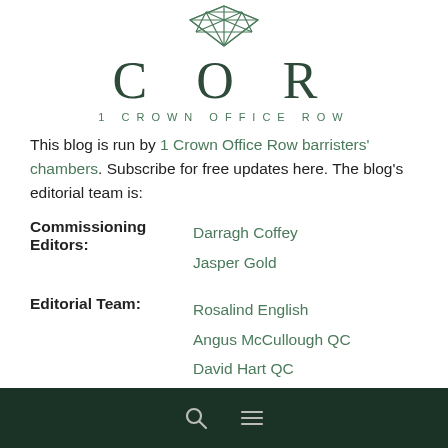[Figure (logo): 1 Crown Office Row geometric gem/diamond logo in green outline]
COR
1 CROWN OFFICE ROW
This blog is run by 1 Crown Office Row barristers' chambers. Subscribe for free updates here. The blog's editorial team is:
Commissioning Editors: Darragh Coffey, Jasper Gold
Editorial Team: Rosalind English, Angus McCullough QC, David Hart QC, Martin Downs, Jim Duffy, Jonathan Metzer
Search and menu icons